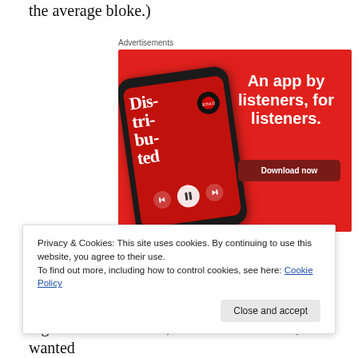the average bloke.)
[Figure (illustration): Advertisement banner showing a smartphone app. Red background with bold white text reading 'An app by listeners, for listeners.' and a 'Download now' button. Phone shows a podcast app screen with text 'Dis-tri-bu-ted'.]
Privacy & Cookies: This site uses cookies. By continuing to use this website, you agree to their use.
To find out more, including how to control cookies, see here: Cookie Policy
regretted the decision, hated the lunchbox, and wanted